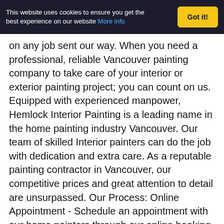This website uses cookies to ensure you get the best experience on our website More info
Got it!
on any job sent our way. When you need a professional, reliable Vancouver painting company to take care of your interior or exterior painting project; you can count on us. Equipped with experienced manpower, Hemlock Interior Painting is a leading name in the home painting industry Vancouver. Our team of skilled Interior painters can do the job with dedication and extra care. As a reputable painting contractor in Vancouver, our competitive prices and great attention to detail are unsurpassed. Our Process: Online Appointment - Schedule an appointment with our home painters through our online booking tools. Instant quotation - Provide quote quickly through our exclusive quoting system Job scheduling - Provide precise initial and finish dates of painting job to ensure the project is done on time. Real-Time Job Monitoring - To ensure the quality of the painting job, our painting manager